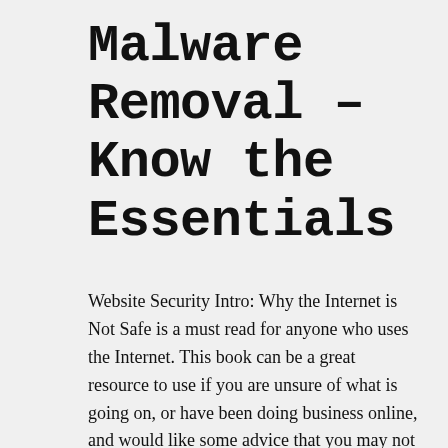Malware Removal – Know the Essentials
Website Security Intro: Why the Internet is Not Safe is a must read for anyone who uses the Internet. This book can be a great resource to use if you are unsure of what is going on, or have been doing business online, and would like some advice that you may not have thought of before. Whether you're just starting out, or you've been online for a while, this is